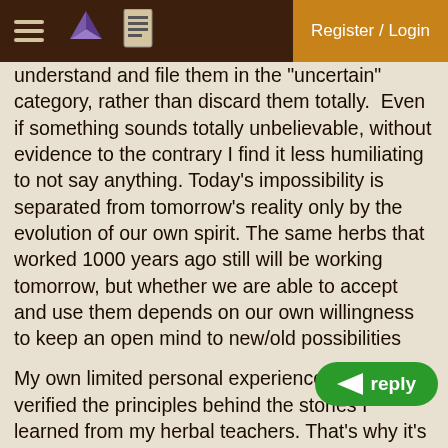Register / Login
understand and file them in the "uncertain" category, rather than discard them totally.  Even if something sounds totally unbelievable, without evidence to the contrary I find it less humiliating to not say anything. Today's impossibility is separated from tomorrow's reality only by the evolution of our own spirit. The same herbs that worked 1000 years ago still will be working tomorrow, but whether we are able to accept and use them depends on our own willingness to keep an open mind to new/old possibilities
My own limited personal experience has always verified the principles behind the stories I learned from my herbal teachers. That's why it's easy for me to believe poke could shrink that breast tumor in that manner. granted, all breast tumors are not created equal, and the key to that treatment was the size and the fact that it was already through the skin, and directly accessible to the poke root poultice. Other presentations would require different approaches.